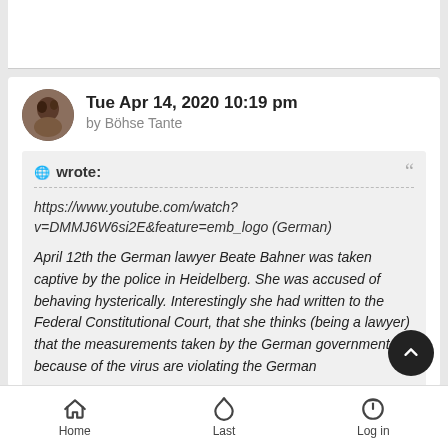Tue Apr 14, 2020 10:19 pm
by Böhse Tante
🌐 wrote:
https://www.youtube.com/watch?v=DMMJ6W6si2E&feature=emb_logo (German)

April 12th the German lawyer Beate Bahner was taken captive by the police in Heidelberg. She was accused of behaving hysterically. Interestingly she had written to the Federal Constitutional Court, that she thinks (being a lawyer) that the measurements taken by the German government because of the virus are violating the German constitution. She is now imprisoned in a psychological
Home   Last   Log in